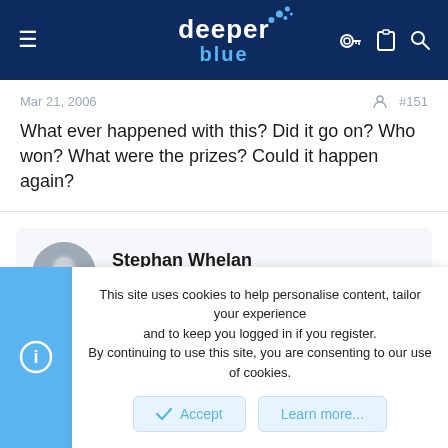deeper blue
Mar 21, 2006   #151
What ever happened with this? Did it go on? Who won? What were the prizes? Could it happen again?
Stephan Whelan
Papa Smurf  Staff member  Admin
Mar 29, 2006   #152
This site uses cookies to help personalise content, tailor your experience and to keep you logged in if you register.
By continuing to use this site, you are consenting to our use of cookies.
Accept   Learn more...